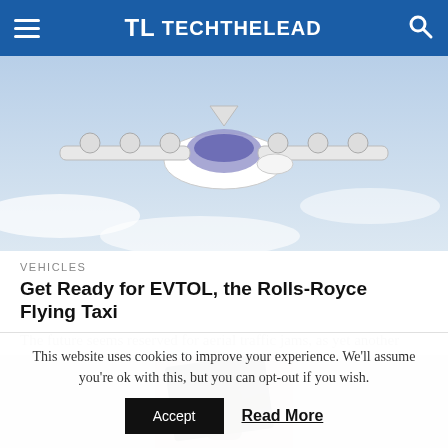TECHTHELEAD
[Figure (photo): An EVTOL aircraft (flying taxi) in flight with multiple propellers on wings, blue and white fuselage, against a light sky background.]
VEHICLES
Get Ready for EVTOL, the Rolls-Royce Flying Taxi
The future seems reserved for aerial traffic jams, as yet another company wants to launch a flying taxi. This time it's Rolls-Royce...
[Figure (photo): Partial view of a second article's thumbnail image showing a dark device held by a person.]
This website uses cookies to improve your experience. We'll assume you're ok with this, but you can opt-out if you wish.
Accept   Read More